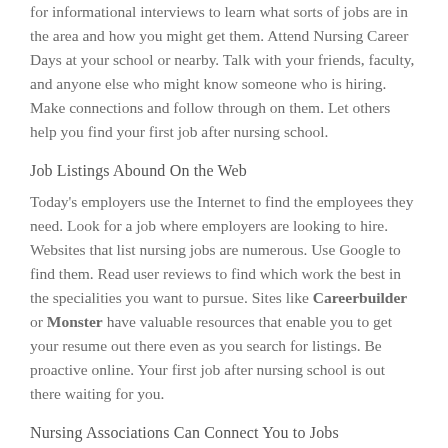for informational interviews to learn what sorts of jobs are in the area and how you might get them. Attend Nursing Career Days at your school or nearby. Talk with your friends, faculty, and anyone else who might know someone who is hiring. Make connections and follow through on them. Let others help you find your first job after nursing school.
Job Listings Abound On the Web
Today's employers use the Internet to find the employees they need. Look for a job where employers are looking to hire. Websites that list nursing jobs are numerous. Use Google to find them. Read user reviews to find which work the best in the specialities you want to pursue. Sites like Careerbuilder or Monster have valuable resources that enable you to get your resume out there even as you search for listings. Be proactive online. Your first job after nursing school is out there waiting for you.
Nursing Associations Can Connect You to Jobs